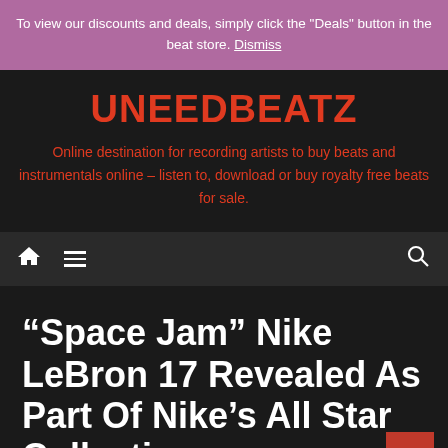To view our discounts and deals, simply click the "Deals" button in the beat store. Dismiss
UNEEDBEATZ
Online destination for recording artists to buy beats and instrumentals online – listen to, download or buy royalty free beats for sale.
[Figure (other): Navigation bar with home icon, menu icon, and search icon on dark background]
“Space Jam” Nike LeBron 17 Revealed As Part Of Nike’s All Star Collection